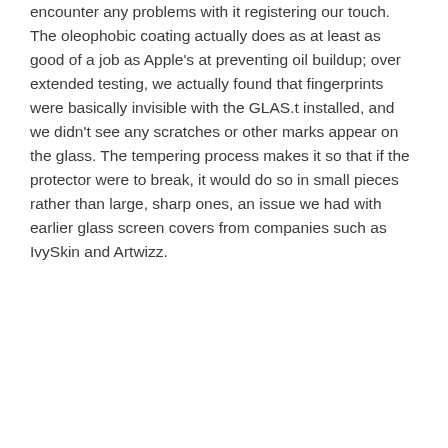encounter any problems with it registering our touch. The oleophobic coating actually does as at least as good of a job as Apple's at preventing oil buildup; over extended testing, we actually found that fingerprints were basically invisible with the GLAS.t installed, and we didn't see any scratches or other marks appear on the glass. The tempering process makes it so that if the protector were to break, it would do so in small pieces rather than large, sharp ones, an issue we had with earlier glass screen covers from companies such as IvySkin and Artwizz.